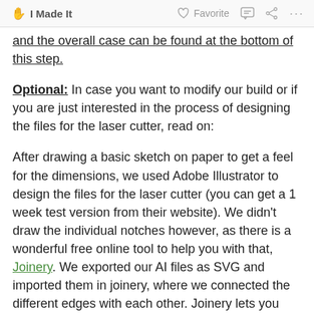I Made It   Favorite   [comment icon]   [share icon]   ...
and the overall case can be found at the bottom of this step.
Optional: In case you want to modify our build or if you are just interested in the process of designing the files for the laser cutter, read on:
After drawing a basic sketch on paper to get a feel for the dimensions, we used Adobe Illustrator to design the files for the laser cutter (you can get a 1 week test version from their website). We didn't draw the individual notches however, as there is a wonderful free online tool to help you with that, Joinery. We exported our AI files as SVG and imported them in joinery, where we connected the different edges with each other. Joinery lets you define profiles for different edges, and connect them automatically.